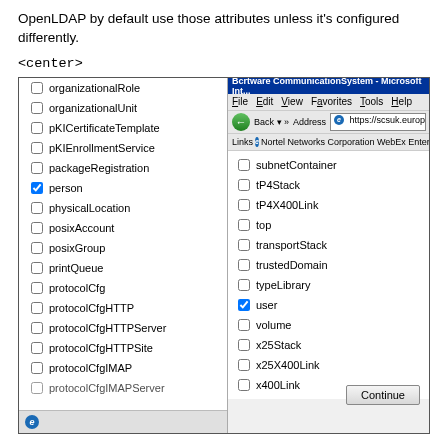OpenLDAP by default use those attributes unless it's configured differently.
<center>
[Figure (screenshot): A Windows Internet Explorer browser window showing an Active Directory object class selection dialog. Left panel shows a list of object classes with checkboxes including organizationalRole, organizationalUnit, pKICertificateTemplate, pKIEnrollmentService, packageRegistration, person (checked), physicalLocation, posixAccount, posixGroup, printQueue, protocolCfg, protocolCfgHTTP, protocolCfgHTTPServer, protocolCfgHTTPSite, protocolCfgIMAP, protocolCfgIMAPServer. Right panel shows browser navigation and more items: subnetContainer, tP4Stack, tP4X400Link, top, transportStack, trustedDomain, typeLibrary, user (checked), volume, x25Stack, x25X400Link, x400Link, and a Continue button.]